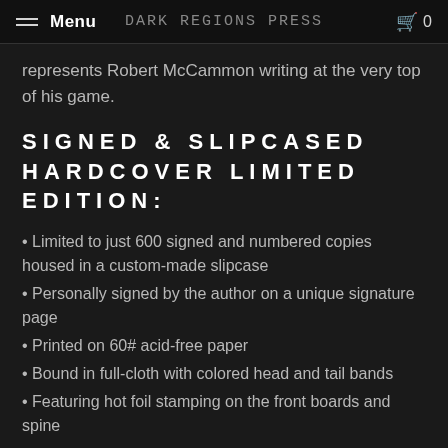Menu | Dark Regions Press | 0
represents Robert McCammon writing at the very top of his game.
SIGNED & SLIPCASED HARDCOVER LIMITED EDITION:
Limited to just 600 signed and numbered copies housed in a custom-made slipcase
Personally signed by the author on a unique signature page
Printed on 60# acid-free paper
Bound in full-cloth with colored head and tail bands
Featuring hot foil stamping on the front boards and spine